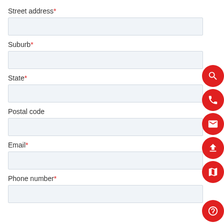Street address*
Suburb*
State*
Postal code
Email*
Phone number*